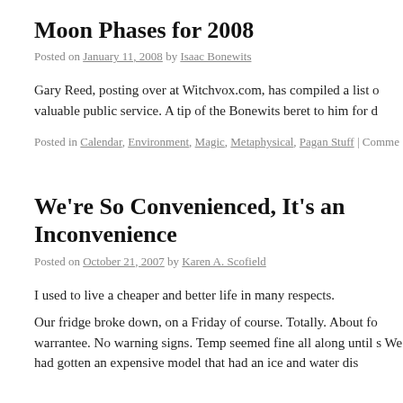Moon Phases for 2008
Posted on January 11, 2008 by Isaac Bonewits
Gary Reed, posting over at Witchvox.com, has compiled a list o valuable public service. A tip of the Bonewits beret to him for d
Posted in Calendar, Environment, Magic, Metaphysical, Pagan Stuff | Comme
We're So Convenienced, It's an Inconvenience
Posted on October 21, 2007 by Karen A. Scofield
I used to live a cheaper and better life in many respects.
Our fridge broke down, on a Friday of course. Totally. About fo warrantee. No warning signs. Temp seemed fine all along until s We had gotten an expensive model that had an ice and water dis